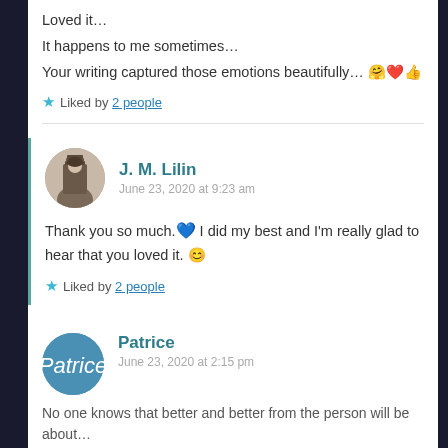Loved it...
It happens to me sometimes...
Your writing captured those emotions beautifully... 🤗❤️👍
Liked by 2 people
J. M. Lilin
June 23, 2020 at 9:23 am
Thank you so much. 💙 I did my best and I'm really glad to hear that you loved it. 😊
Liked by 2 people
Patrice
June 23, 2020 at 2:15 pm
No one knows that better and better from the person will be about...